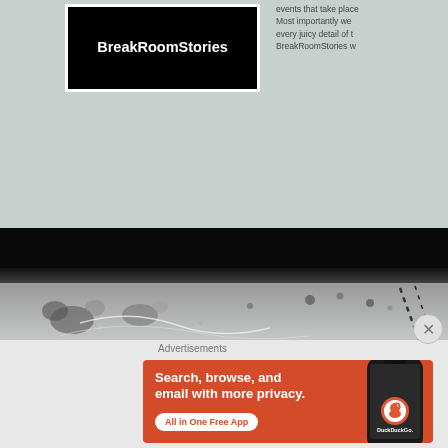[Figure (logo): BreakRoomStories logo — white text on black background with white border]
events that take place Most importantly we every juicy detail of t BreakRoomStories w
[Figure (photo): Black and white photograph showing a dark sky at top transitioning to a textured light-grey surface with splatter marks, scratches, and debris]
Advertisements
[Figure (screenshot): DuckDuckGo advertisement banner with orange background. Text reads: Search, browse, and email with more privacy. All in One Free App. Shows DuckDuckGo logo and app icon on phone mockup.]